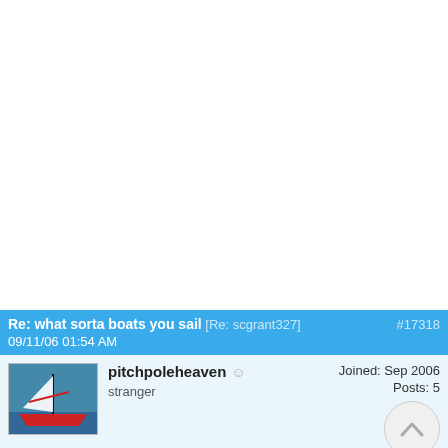Re: what sorta boats you sail [Re: scgrant327] #17318 09/11/06 01:54 AM
pitchpoleheaven stranger Joined: Sep 2006 Posts: 5